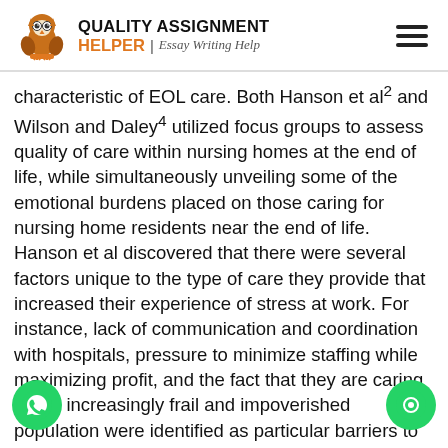QUALITY ASSIGNMENT HELPER | Essay Writing Help
characteristic of EOL care. Both Hanson et al2 and Wilson and Daley4 utilized focus groups to assess quality of care within nursing homes at the end of life, while simultaneously unveiling some of the emotional burdens placed on those caring for nursing home residents near the end of life. Hanson et al discovered that there were several factors unique to the type of care they provide that increased their experience of stress at work. For instance, lack of communication and coordination with hospitals, pressure to minimize staffing while maximizing profit, and the fact that they are caring for an increasingly frail and impoverished population were identified as particular barriers to providing the ideal care for dying residents.2 Included in the body of knowledge pertaining to EOL nursing home care is th...